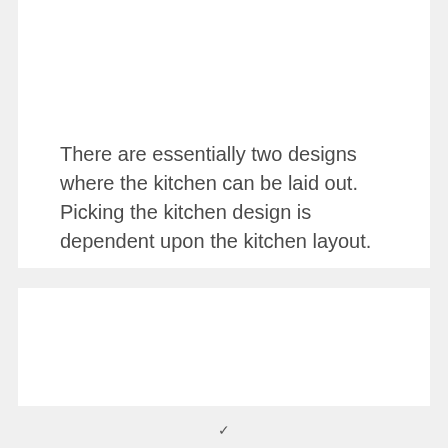There are essentially two designs where the kitchen can be laid out. Picking the kitchen design is dependent upon the kitchen layout.